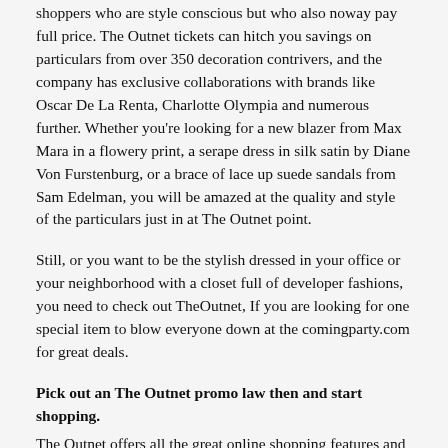shoppers who are style conscious but who also noway pay full price. The Outnet tickets can hitch you savings on particulars from over 350 decoration contrivers, and the company has exclusive collaborations with brands like Oscar De La Renta, Charlotte Olympia and numerous further. Whether you're looking for a new blazer from Max Mara in a flowery print, a serape dress in silk satin by Diane Von Furstenburg, or a brace of lace up suede sandals from Sam Edelman, you will be amazed at the quality and style of the particulars just in at The Outnet point.
Still, or you want to be the stylish dressed in your office or your neighborhood with a closet full of developer fashions, you need to check out TheOutnet, If you are looking for one special item to blow everyone down at the comingparty.com for great deals.
Pick out an The Outnet promo law then and start shopping.
The Outnet offers all the great online shopping features and services you anticipate alongside all that haute couture. There's detailed size, fit and watch information for every product, and24/7 client service agents to take care of any issues you have ahead or after ordering. You can produce want lists and get cautions when particulars you want are back in stock. You can indeed enjoy speedy same day delivery in London, Manhattan andConnecticut However, do not worry, because TheOutnet, If